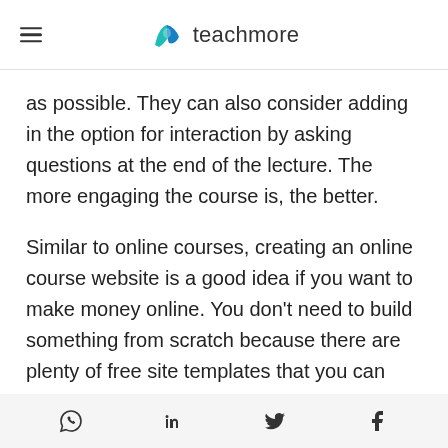teachmore
as possible. They can also consider adding in the option for interaction by asking questions at the end of the lecture. The more engaging the course is, the better.
Similar to online courses, creating an online course website is a good idea if you want to make money online. You don't need to build something from scratch because there are plenty of free site templates that you can use
WhatsApp LinkedIn Twitter Facebook